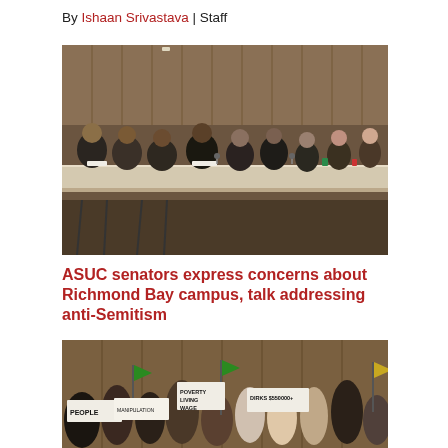By Ishaan Srivastava | Staff
[Figure (photo): ASUC senators seated at a long table in a wood-paneled room, listening attentively during a senate meeting.]
ASUC senators express concerns about Richmond Bay campus, talk addressing anti-Semitism
[Figure (photo): Protesters in an auditorium holding signs including 'PEOPLE', 'LIVING WAGE', 'DIRKS $550000+' and green flags.]